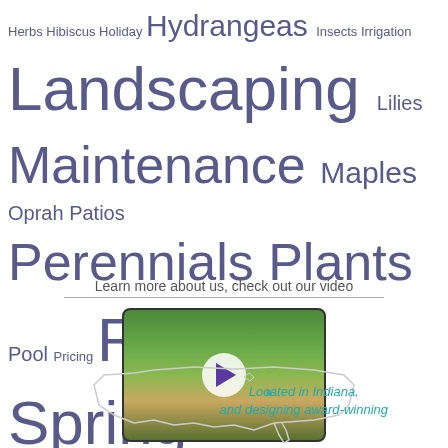Herbs Hibiscus Holiday Hydrangeas Insects Irrigation Landscaping Lilies Maintenance Maples Oprah Patios Perennials Plants Pool Pricing Recipes Spring Summer Trees Tropicals Water Feature Winter
Learn more about us, check out our video
[Figure (photo): Video thumbnail showing a garden landscape with trees and flower beds, with a white circular play button overlay]
[Figure (map): Outline map of the United States with text: Located in Indiana, and designing award-winning landscapes nationally]